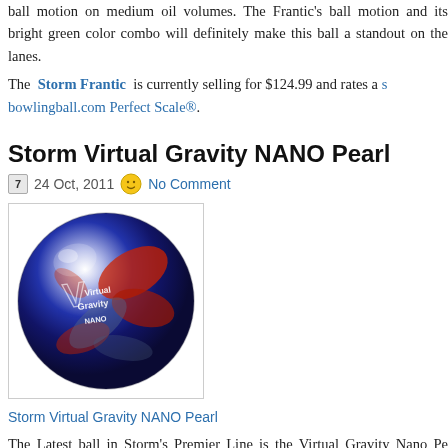ball motion on medium oil volumes. The Frantic's ball motion and its bright green color combo will definitely make this ball a standout on the lanes.
The Storm Frantic is currently selling for $124.99 and rates a [score] on the bowlingball.com Perfect Scale®.
Storm Virtual Gravity NANO Pearl
24 Oct, 2011   No Comment
[Figure (photo): Storm Virtual Gravity NANO Pearl bowling ball — blue, red, and grey swirl design with 'Virtual Gravity Nano' logo on the surface]
Storm Virtual Gravity NANO Pearl
The Latest ball in Storm's Premier Line is the Virtual Gravity Nano Pearl uses a medium Rg/ high differential core wrapped up by NRG co uses mica to create a cleaner ball motion through the front of the lane b